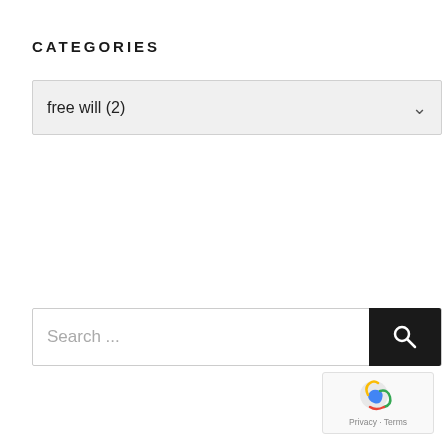CATEGORIES
free will  (2)
Search ...
[Figure (logo): reCAPTCHA logo with Privacy and Terms links]